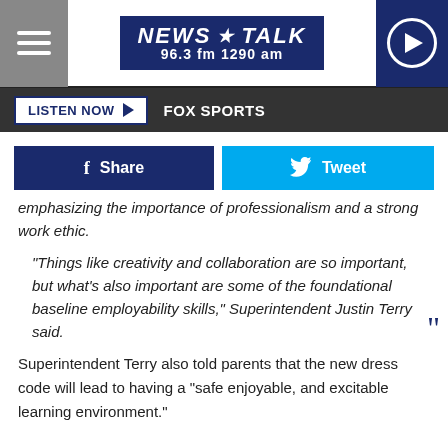[Figure (screenshot): News Talk 96.3 fm 1290 am radio station logo with hamburger menu icon on left and play button on right]
LISTEN NOW ▶   FOX SPORTS
[Figure (screenshot): Facebook Share button and Twitter Tweet button]
emphasizing the importance of professionalism and a strong work ethic.
"Things like creativity and collaboration are so important, but what's also important are some of the foundational baseline employability skills," Superintendent Justin Terry said.
Superintendent Terry also told parents that the new dress code will lead to having a "safe enjoyable, and excitable learning environment."